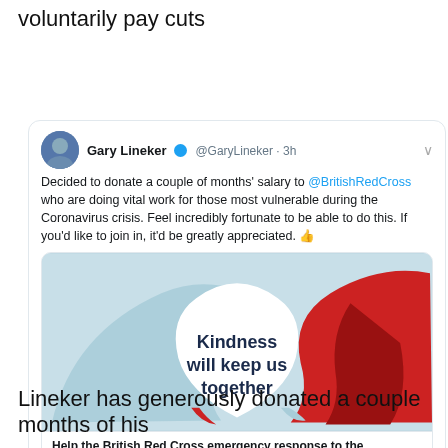voluntarily pay cuts
[Figure (screenshot): Screenshot of a Gary Lineker tweet about donating salary to British Red Cross, including a 'Kindness will keep us together' image card with British Red Cross branding, tweet stats (362 comments, 403 retweets, 5.7K likes), and a linked JustGiving fundraiser card.]
Lineker has generously donated a couple months of his